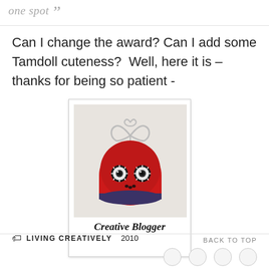one spot "
Can I change the award? Can I add some Tamdoll cuteness?  Well, here it is – thanks for being so patient -
[Figure (photo): Polaroid-style award image showing a red felt Tamdoll character with wire heart on top, labeled 'Creative Blogger 2010']
LIVING CREATIVELY
BACK TO TOP